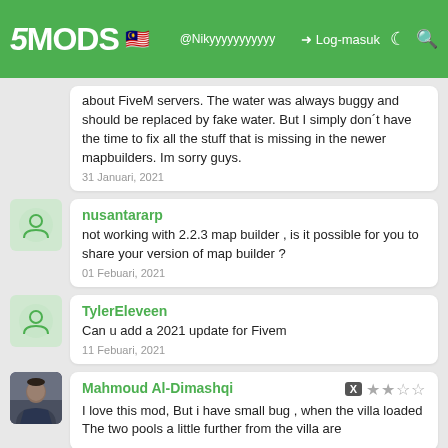5MODS - Log-masuk
about FiveM servers. The water was always buggy and should be replaced by fake water. But I simply don't have the time to fix all the stuff that is missing in the newer mapbuilders. Im sorry guys.
31 Januari, 2021
nusantararp
not working with 2.2.3 map builder , is it possible for you to share your version of map builder ?
01 Febuari, 2021
TylerEleveen
Can u add a 2021 update for Fivem
11 Febuari, 2021
Mahmoud Al-Dimashqi
I love this mod, But i have small bug , when the villa loaded The two pools a little further from the villa are